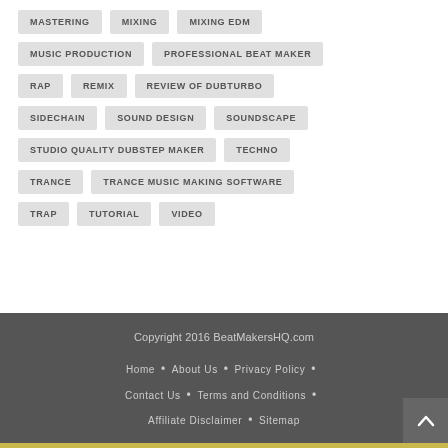MASTERING
MIXING
MIXING EDM
MUSIC PRODUCTION
PROFESSIONAL BEAT MAKER
RAP
REMIX
REVIEW OF DUBTURBO
SIDECHAIN
SOUND DESIGN
SOUNDSCAPE
STUDIO QUALITY DUBSTEP MAKER
TECHNO
TRANCE
TRANCE MUSIC MAKING SOFTWARE
TRAP
TUTORIAL
VIDEO
Copyright 2016 BeatMakersHQ.com
Home • About Us • Privacy Policy • Contact Us • Terms and Conditions • Affiliate Disclaimer • Sitemap